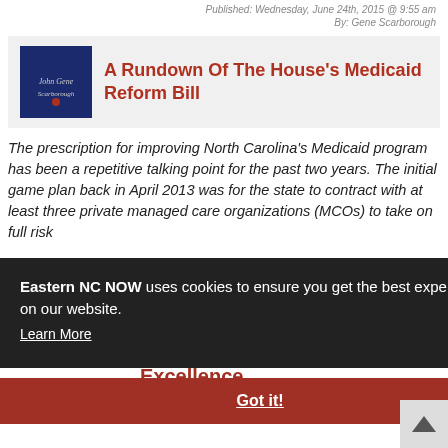Published: Wednesday, June 24th, 2015 @ 9:55 am
By: Gene Scarborough
A Rundown Of The House's Medicaid Reform Bill
The prescription for improving North Carolina's Medicaid program has been a repetitive talking point for the past two years. The initial game plan back in April 2013 was for the state to contract with at least three private managed care organizations (MCOs) to take on full risk
Eastern NC NOW uses cookies to ensure you get the best experience on our website. Learn More
Got it!
Excellence